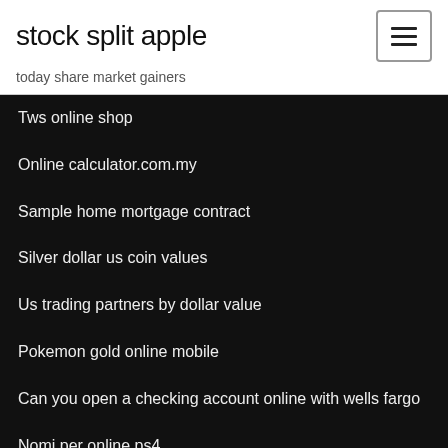stock split apple
today share market gainers
Tws online shop
Online calculator.com.my
Sample home mortgage contract
Silver dollar us coin values
Us trading partners by dollar value
Pokemon gold online mobile
Can you open a checking account online with wells fargo
Nomi per online ps4
Online calculator to solve exponential equations
How to mine oil vein ark